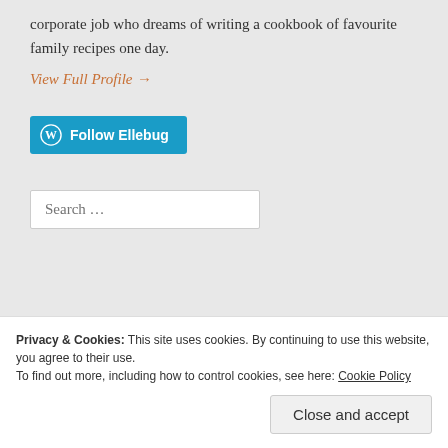corporate job who dreams of writing a cookbook of favourite family recipes one day.
View Full Profile →
[Figure (other): WordPress Follow Ellebug button with WP logo]
Search …
Privacy & Cookies: This site uses cookies. By continuing to use this website, you agree to their use. To find out more, including how to control cookies, see here: Cookie Policy
Close and accept